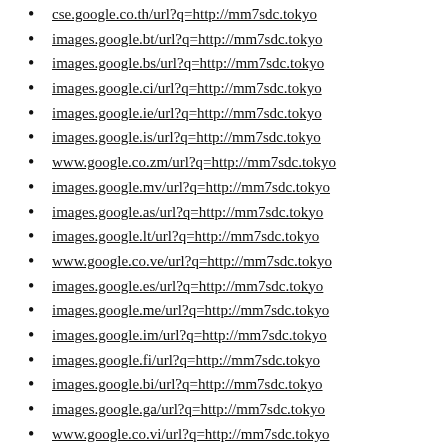cse.google.co.th/url?q=http://mm7sdc.tokyo
images.google.bt/url?q=http://mm7sdc.tokyo
images.google.bs/url?q=http://mm7sdc.tokyo
images.google.ci/url?q=http://mm7sdc.tokyo
images.google.ie/url?q=http://mm7sdc.tokyo
images.google.is/url?q=http://mm7sdc.tokyo
www.google.co.zm/url?q=http://mm7sdc.tokyo
images.google.mv/url?q=http://mm7sdc.tokyo
images.google.as/url?q=http://mm7sdc.tokyo
images.google.lt/url?q=http://mm7sdc.tokyo
www.google.co.ve/url?q=http://mm7sdc.tokyo
images.google.es/url?q=http://mm7sdc.tokyo
images.google.me/url?q=http://mm7sdc.tokyo
images.google.im/url?q=http://mm7sdc.tokyo
images.google.fi/url?q=http://mm7sdc.tokyo
images.google.bi/url?q=http://mm7sdc.tokyo
images.google.ga/url?q=http://mm7sdc.tokyo
www.google.co.vi/url?q=http://mm7sdc.tokyo
images.google.de/url?q=http://mm7sdc.tokyo